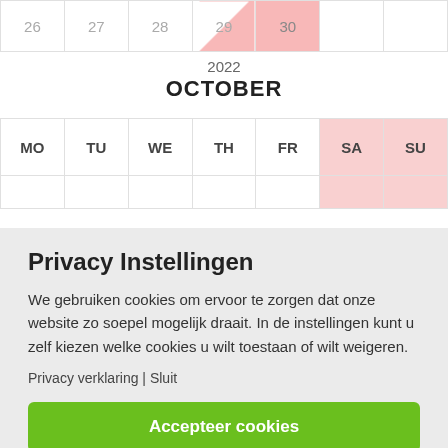| MO | TU | WE | TH | FR | SA | SU |
| --- | --- | --- | --- | --- | --- | --- |
| 26 | 27 | 28 | 29 | 30 |  |  |
|  |  |  |  |  |  |  |
2022
OCTOBER
| MO | TU | WE | TH | FR | SA | SU |
| --- | --- | --- | --- | --- | --- | --- |
|  |  |  |  |  |  |  |
Privacy Instellingen
We gebruiken cookies om ervoor te zorgen dat onze website zo soepel mogelijk draait. In de instellingen kunt u zelf kiezen welke cookies u wilt toestaan of wilt weigeren.
Privacy verklaring | Sluit
Accepteer cookies
Instellingen